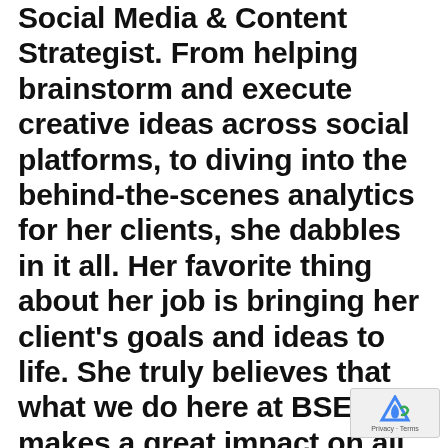Social Media & Content Strategist. From helping brainstorm and execute creative ideas across social platforms, to diving into the behind-the-scenes analytics for her clients, she dabbles in it all. Her favorite thing about her job is bringing her client's goals and ideas to life. She truly believes that what we do here at BSE makes a great impact on all of our clients' lives and businesses.
Outside of her job, Holly keeps quite busy with her puppy Rang a charcoal lab! She also LOVES spending time out on the water.